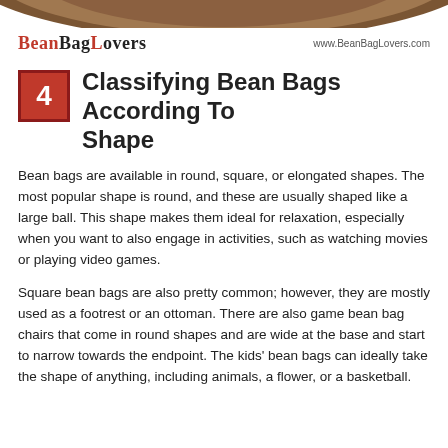BeanBagLovers   www.BeanBagLovers.com
4  Classifying Bean Bags According To Shape
Bean bags are available in round, square, or elongated shapes. The most popular shape is round, and these are usually shaped like a large ball. This shape makes them ideal for relaxation, especially when you want to also engage in activities, such as watching movies or playing video games.
Square bean bags are also pretty common; however, they are mostly used as a footrest or an ottoman. There are also game bean bag chairs that come in round shapes and are wide at the base and start to narrow towards the endpoint. The kids' bean bags can ideally take the shape of anything, including animals, a flower, or a basketball.